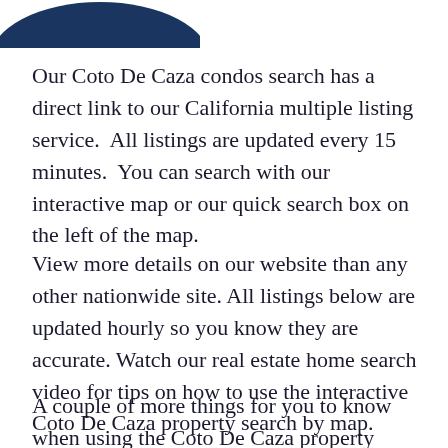[Figure (logo): Partial logo image in dark navy blue at the top left of the page, partially cropped]
Our Coto De Caza condos search has a direct link to our California multiple listing service.  All listings are updated every 15 minutes.  You can search with our interactive map or our quick search box on the left of the map.
View more details on our website than any other nationwide site. All listings below are updated hourly so you know they are accurate. Watch our real estate home search video for tips on how to use the interactive Coto De Caza property search by map.
A couple of more things for you to know when using the Coto De Caza property search tool: you can view more information on each Tab in the